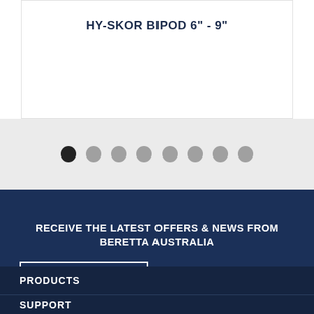HY-SKOR BIPOD 6" - 9"
[Figure (other): Carousel pagination dots, first dot active (black), seven remaining dots gray]
RECEIVE THE LATEST OFFERS & NEWS FROM BERETTA AUSTRALIA
SIGN UP
PRODUCTS
SUPPORT